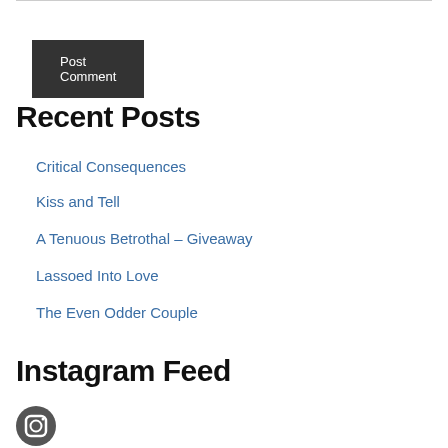Post Comment
Recent Posts
Critical Consequences
Kiss and Tell
A Tenuous Betrothal – Giveaway
Lassoed Into Love
The Even Odder Couple
Instagram Feed
[Figure (logo): Instagram circular icon with camera logo, partially visible at bottom of page]